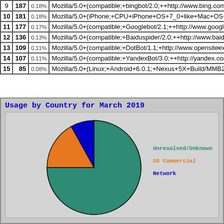| # | Count | Pct | User Agent |
| --- | --- | --- | --- |
| 9 | 187 | 0.18% | Mozilla/5.0+(compatible;+bingbot/2.0;++http://www.bing.com/b... |
| 10 | 181 | 0.18% | Mozilla/5.0+(iPhone;+CPU+iPhone+OS+7_0+like+Mac+OS+X)+... |
| 11 | 177 | 0.17% | Mozilla/5.0+(compatible;+Googlebot/2.1;++http://www.google.co... |
| 12 | 136 | 0.13% | Mozilla/5.0+(compatible;+Baiduspider/2.0;++http://www.baidu.co... |
| 13 | 109 | 0.11% | Mozilla/5.0+(compatible;+DotBot/1.1;+http://www.opensiteexplo... |
| 14 | 107 | 0.11% | Mozilla/5.0+(compatible;+YandexBot/3.0;++http://yandex.com/bo... |
| 15 | 85 | 0.08% | Mozilla/5.0+(Linux;+Android+6.0.1;+Nexus+5X+Build/MMB29... |
[Figure (pie-chart): Usage by Country for March 2019]